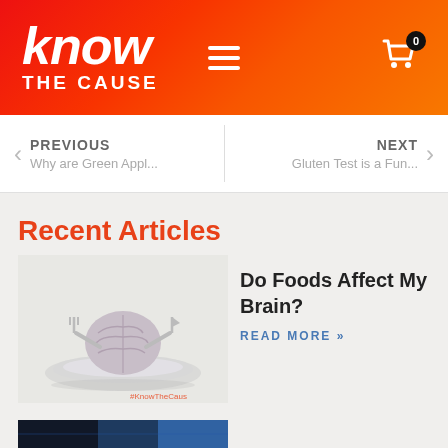know THE CAUSE
PREVIOUS
Why are Green Appl...
NEXT
Gluten Test is a Fun...
Recent Articles
[Figure (photo): A brain holding a knife and fork, sitting on a white plate, with #KnowTheCaus hashtag watermark]
Do Foods Affect My Brain?
READ MORE »
[Figure (photo): Partial view of another article image at the bottom]